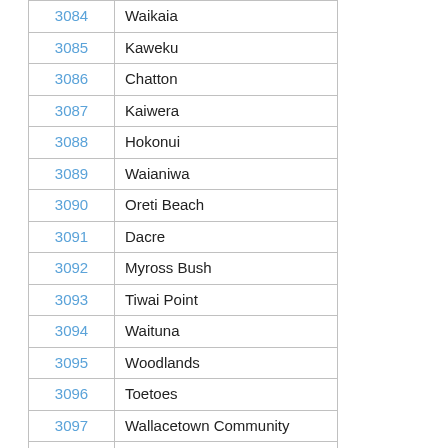| Code | Name |
| --- | --- |
| 3084 | Waikaia |
| 3085 | Kaweku |
| 3086 | Chatton |
| 3087 | Kaiwera |
| 3088 | Hokonui |
| 3089 | Waianiwa |
| 3090 | Oreti Beach |
| 3091 | Dacre |
| 3092 | Myross Bush |
| 3093 | Tiwai Point |
| 3094 | Waituna |
| 3095 | Woodlands |
| 3096 | Toetoes |
| 3097 | Wallacetown Community |
| 3098 | North Gore |
| 3099 | East Gore |
| 3100 | Corstorphine West |
| 3101 | Corstorphine East |
| 3102 | Raynbirds Bay |